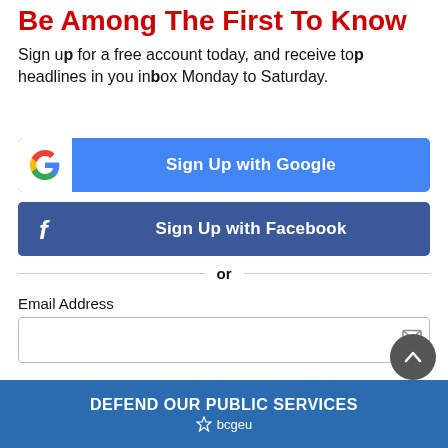Be Among The First To Know
Sign up for a free account today, and receive top headlines in you inbox Monday to Saturday.
[Figure (screenshot): Sign Up with Google button with Google logo icon]
[Figure (screenshot): Sign Up with Facebook button with Facebook logo icon]
or
Email Address
First Name
[Figure (other): Scroll to top circular button with chevron up icon]
[Figure (other): DEFEND OUR PUBLIC SERVICES banner with bcgeu logo]